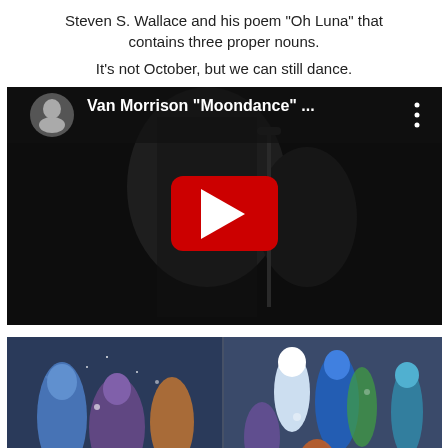Steven S. Wallace and his poem "Oh Luna" that contains three proper nouns.
It’s not October, but we can still dance.
[Figure (screenshot): YouTube video thumbnail showing Van Morrison 'Moondance' with a dark concert photo background, circular channel icon top-left, large red YouTube play button in center, three-dot menu icon top-right.]
[Figure (photo): Colorful abstract artwork or artwork collage with blue, purple, orange, red, and green painted figures on white background, split image showing two panels side by side.]